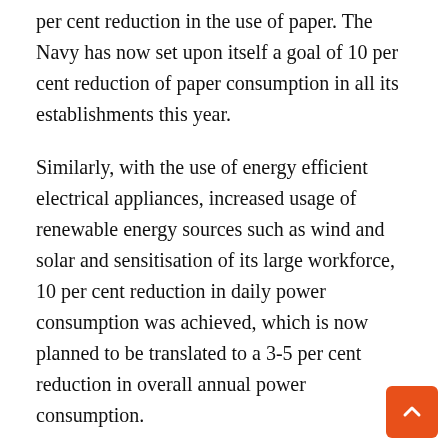per cent reduction in the use of paper. The Navy has now set upon itself a goal of 10 per cent reduction of paper consumption in all its establishments this year.
Similarly, with the use of energy efficient electrical appliances, increased usage of renewable energy sources such as wind and solar and sensitisation of its large workforce, 10 per cent reduction in daily power consumption was achieved, which is now planned to be translated to a 3-5 per cent reduction in overall annual power consumption.
Afforestation is also actively being pursued at various places. The effort at Vishakhapatnam at the Eastern Naval Command, which endured the cyclone Hudhud is particularly laudable, with over 40,000 saplings having been planted. Resurrection